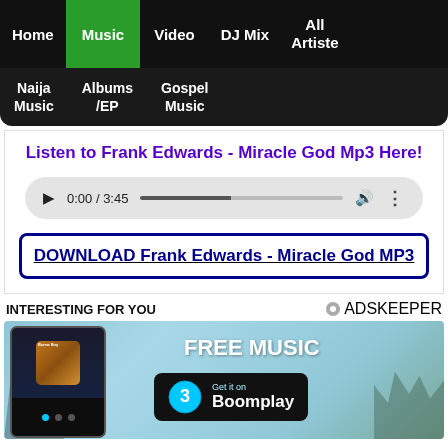Home | Music | Video | DJ Mix | All Artiste
Naija Music | Albums/EP | Gospel Music
Listen to Frank Edwards - Miracle God Mp3 Here!
[Figure (screenshot): Audio player showing 0:00 / 3:45 with play button, progress bar, volume and more icons]
DOWNLOAD Frank Edwards - Miracle God MP3
INTERESTING FOR YOU
[Figure (screenshot): Boomplay ad banner showing FREE MUSIC Get it on Boomplay with Burna Boy phone mockup and city skyline background]